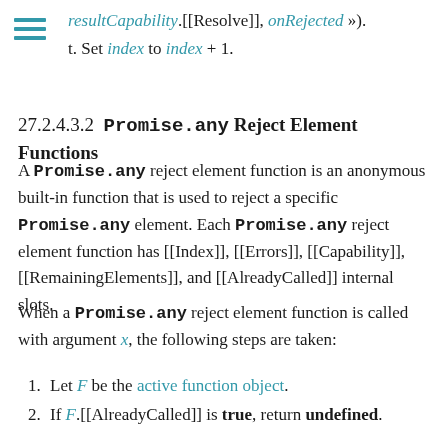s. Perform ? .Invoke(nextPromise, « "then", « resultCapability.[[Resolve]], onRejected »).
t. Set index to index + 1.
27.2.4.3.2 Promise.any Reject Element Functions
A Promise.any reject element function is an anonymous built-in function that is used to reject a specific Promise.any element. Each Promise.any reject element function has [[Index]], [[Errors]], [[Capability]], [[RemainingElements]], and [[AlreadyCalled]] internal slots.
When a Promise.any reject element function is called with argument x, the following steps are taken:
1. Let F be the active function object.
2. If F.[[AlreadyCalled]] is true, return undefined.